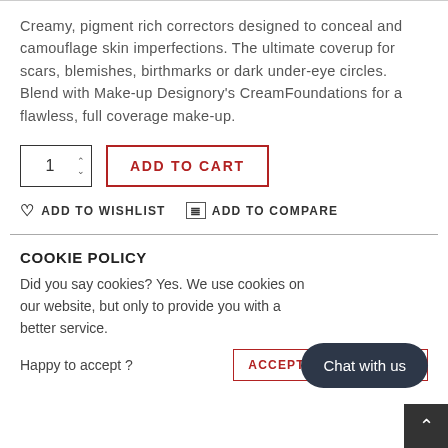Creamy, pigment rich correctors designed to conceal and camouflage skin imperfections. The ultimate coverup for scars, blemishes, birthmarks or dark under-eye circles. Blend with Make-up Designory's CreamFoundations for a flawless, full coverage make-up.
1  ADD TO CART
♡ ADD TO WISHLIST   ☰ ADD TO COMPARE
COOKIE POLICY
Did you say cookies? Yes. We use cookies on our website, but only to provide you with a better service.
Happy to accept ?
Chat with us